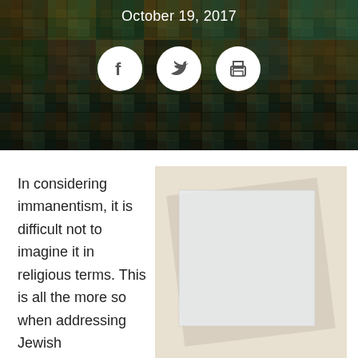[Figure (photo): Dark mosaic/tiled wall background header image]
October 19, 2017
[Figure (other): Social media sharing icons: Facebook, Twitter, Print — white circles on dark background]
In considering immanentism, it is difficult not to imagine it in religious terms. This is all the more so when addressing Jewish immanentism,
[Figure (photo): Kazimir Malevich-style painting: white square on off-white/cream background — Suprematist abstract art]